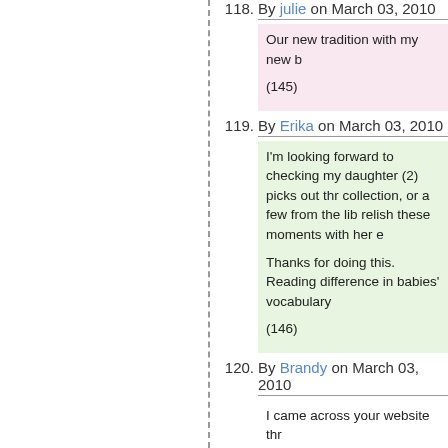118. By julie on March 03, 2010
Our new tradition with my new b
(145)
119. By Erika on March 03, 2010
I'm looking forward to checking my daughter (2) picks out thr collection, or a few from the lib relish these moments with her e
Thanks for doing this. Reading difference in babies' vocabulary
(146)
120. By Brandy on March 03, 2010
I came across your website thr
One of my vivid childhood mem The Bernstein Bears or Little C my son, Cameron from the ve relaxing, fun way to spend tim pile of toys for a book. :)
(147)